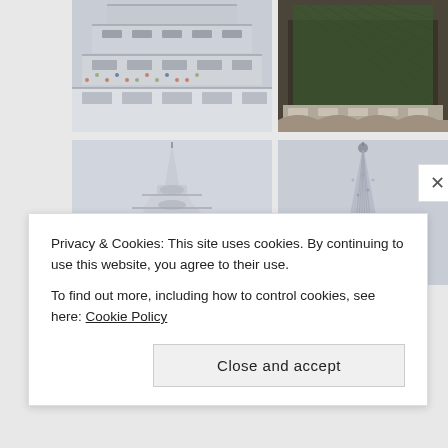[Figure (photo): Close-up of Thai temple (Wat Arun) decorated with ornate porcelain mosaic patterns, white and colorful ceramic tiles on tiered structure]
[Figure (photo): Temple structure under renovation or construction with green scaffolding netting covering decorative surfaces]
[Figure (photo): Tall Thai temple spire/prang with pointed roof against pale sky, white and gray decorated surface, ornate traditional Thai architecture]
[Figure (photo): Close-up of tall Thai pagoda/stupa spire decorated with intricate mosaic ceramic tiles against light sky]
Privacy & Cookies: This site uses cookies. By continuing to use this website, you agree to their use.
To find out more, including how to control cookies, see here: Cookie Policy
Close and accept